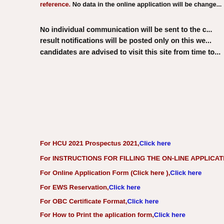reference. No data in the online application will be changed...
No individual communication will be sent to the candidates; result notifications will be posted only on this website and candidates are advised to visit this site from time to time...
For HCU 2021 Prospectus 2021, Click here
For INSTRUCTIONS FOR FILLING THE ON-LINE APPLICATION...
For Online Application Form (Click here ), Click here
For EWS Reservation, Click here
For OBC Certificate Format, Click here
For How to Print the aplication form, Click here
For HCU Detail Information, Click here
For Previous Year Questions Paper & Solutions, Click here
Jitendra Mishra Academy (JMA), Indore Best Institute for MCA Entrance Preparation NIMCET (NIT), JNU MCA, BIT MCA, BHU MCA, PUNE MCA, DU MCA, VIT MCA & Others MCA Entrance Exam Post MCA Entrance...